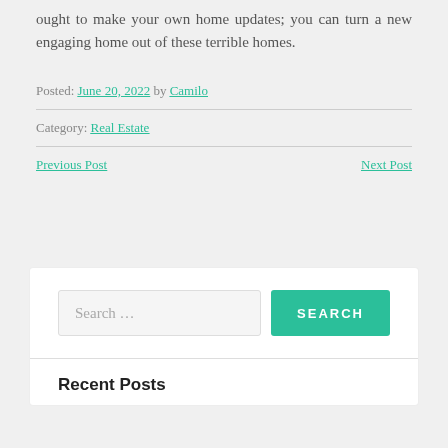ought to make your own home updates; you can turn a new engaging home out of these terrible homes.
Posted: June 20, 2022 by Camilo
Category: Real Estate
Previous Post
Next Post
Search ...
SEARCH
Recent Posts